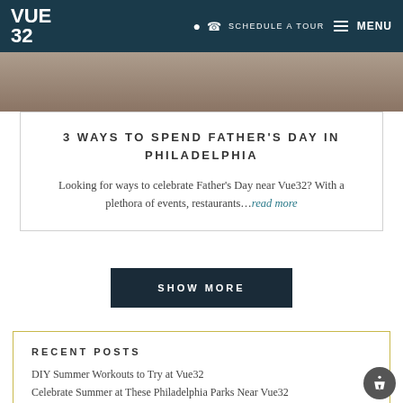VUE 32 | SCHEDULE A TOUR | MENU
[Figure (photo): Partial photo of a person exercising, cropped at top of page]
3 WAYS TO SPEND FATHER'S DAY IN PHILADELPHIA
Looking for ways to celebrate Father's Day near Vue32? With a plethora of events, restaurants...read more
SHOW MORE
RECENT POSTS
DIY Summer Workouts to Try at Vue32
Celebrate Summer at These Philadelphia Parks Near Vue32